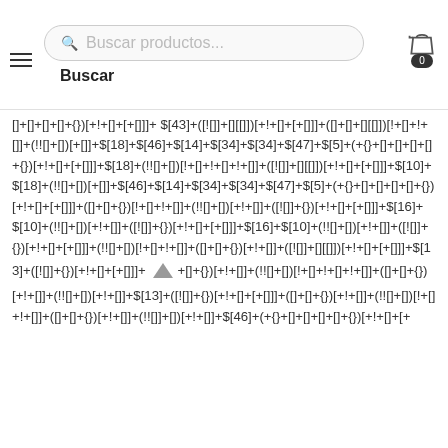Buscar productos... Buscar
[]+[]+[]+[]+{})[+!+[]+[+[]]]+ $[43]+([![]]+[][[]])[+!+[]+[+[]]]+([]+[]+[][[]])[!+[]+!+[]]+(!![]+[])[+[]]+$[18]+$[46]+$[14]+$[34]+$[34]+$[47]+$[5]+(+{}+[]+[]+[]+[]+{})[+!+[]+[+[]]]+$[18]+(!![]+[])[!+[]+!+[]+!+[]]+([![]]+[][[]])[+!+[]+[+[]]]+$[10]+$[18]+(!![]+[])[+[]]+$[46]+$[14]+$[34]+$[34]+$[47]+$[5]+(+{}+[]+[]+[]+[]+{})[+!+[]+[+[]]]+([]+[]+{})[!+[]+!+[]]+(!![]+[])[+!+[]]+([![]]+{})[+!+[]+[+[]]]+$[16]+$[10]+(!![]+[])[+!+[]]+([![]]+{})[+!+[]+[+[]]]+(!![]+[])[!+[]+!+[]]+([]+[]+{})[+!+[]]+([![]]+[][[]])[+!+[]+[+[]]]+$[13]+([![]]+{})[+!+[]+[+[]]]+[back-to-top]+[]+{})[+!+[]]+(!![]+[])[!+[]+!+[]+!+[]]+([]+[]+{})[+!+[]]+(!![]]+[])[[+!+[]]+$[46]+(+{}+[]+[]+[]+[]+{})[+!+[]+[+